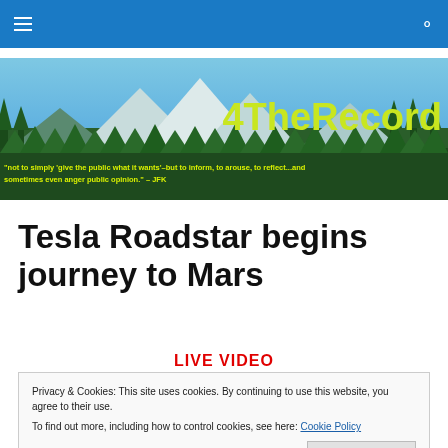4TheRecord — navigation bar with hamburger menu and search icon
[Figure (photo): Mountain landscape banner with pine trees and snow-capped peaks, blue sky. Text overlay: '4TheRecord' in large green-yellow bold font. Quote below: '"not to simply 'give the public what it wants'–but to inform, to arouse, to reflect...and sometimes even anger public opinion." – JFK']
Tesla Roadstar begins journey to Mars
LIVE VIDEO
Privacy & Cookies: This site uses cookies. By continuing to use this website, you agree to their use.
To find out more, including how to control cookies, see here: Cookie Policy
Close and accept